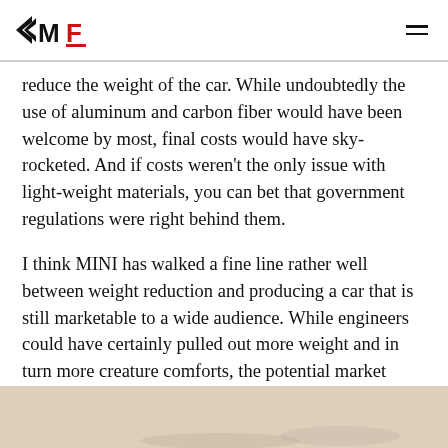MF (MotorFront logo with hamburger menu icon)
reduce the weight of the car. While undoubtedly the use of aluminum and carbon fiber would have been welcome by most, final costs would have sky-rocketed. And if costs weren't the only issue with light-weight materials, you can bet that government regulations were right behind them.
I think MINI has walked a fine line rather well between weight reduction and producing a car that is still marketable to a wide audience. While engineers could have certainly pulled out more weight and in turn more creature comforts, the potential market would have likely been reduced to a level that would have not made the car economically feasible.
[Figure (photo): Bottom strip showing partial photo of a MINI car, beige/warm toned background]